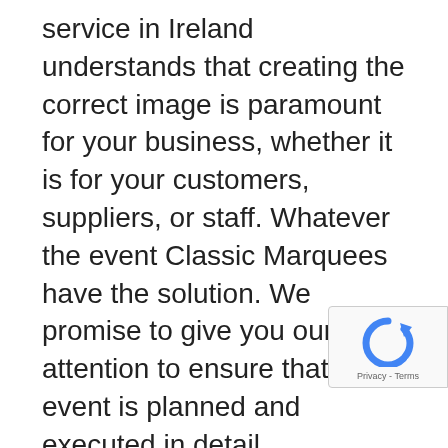service in Ireland understands that creating the correct image is paramount for your business, whether it is for your customers, suppliers, or staff. Whatever the event Classic Marquees have the solution. We promise to give you our full attention to ensure that your event is planned and executed in detail.
We can provide detailed layout plans and drawings to help you to visualize the final layout.
Advantages of our corporate marquees include no movement of staff to an off-site location saving you transport, rental, and setup costs. Other advantages associated with our corporate marquee hire service include the ability to...
[Figure (logo): reCAPTCHA badge with logo and Privacy - Terms text]